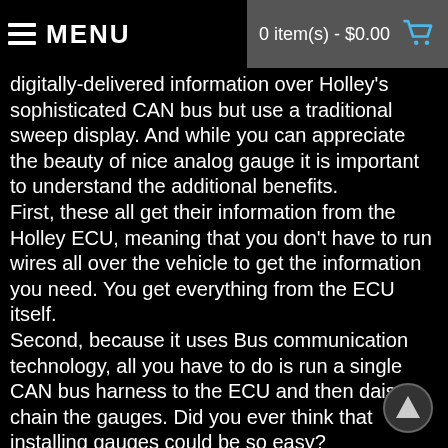MENU   0 item(s) - $0.00
digitally-delivered information over Holley's sophisticated CAN bus but use a traditional sweep display.  And while you can appreciate the beauty of nice analog gauge it is important to understand the additional benefits.
First, these all get their information from the Holley ECU, meaning that you don't have to run wires all over the vehicle to get the information you need.  You get everything from the ECU itself.
Second, because it uses Bus communication technology, all you have to do is run a single CAN bus harness to the ECU and then daisy-chain the gauges.  Did you ever think that installing gauges could be so easy?
And just take a look at that mounting system.
 Remember the old style gauges where you had to fumble with a pair of tiny nuts up behind the dash to install the gauge?  Those days are gone and good riddance!  The new...